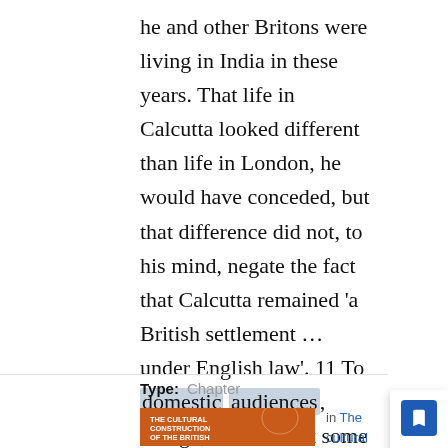he and other Britons were living in India in these years. That life in Calcutta looked different than life in London, he would have conceded, but that difference did not, to his mind, negate the fact that Calcutta remained 'a British settlement … under English law'. 11 To domestic audiences, though, the fact that some
Type: Chapter
[Figure (photo): Book cover of 'The Cultural Construction of the British World' with orange background and world map illustration]
in The cultural construction of the British world
Edited by: Barry Crosbie and Mark Hampton
Online Publication Date: 01 Mar 2017
ISBN: 9781784996918